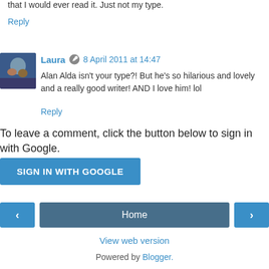that I would ever read it. Just not my type.
Reply
Laura  8 April 2011 at 14:47
Alan Alda isn't your type?! But he's so hilarious and lovely and a really good writer! AND I love him! lol
Reply
To leave a comment, click the button below to sign in with Google.
SIGN IN WITH GOOGLE
Home
View web version
Powered by Blogger.